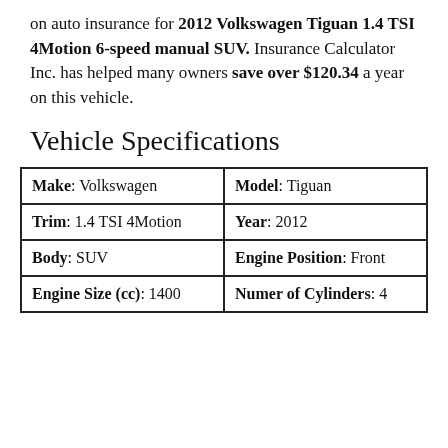on auto insurance for 2012 Volkswagen Tiguan 1.4 TSI 4Motion 6-speed manual SUV. Insurance Calculator Inc. has helped many owners save over $120.34 a year on this vehicle.
Vehicle Specifications
| Make: Volkswagen | Model: Tiguan |
| Trim: 1.4 TSI 4Motion | Year: 2012 |
| Body: SUV | Engine Position: Front |
| Engine Size (cc): 1400 | Numer of Cylinders: 4 |